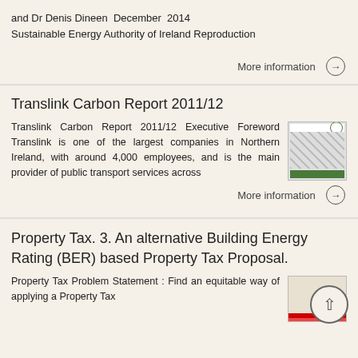and Dr Denis Dineen December 2014 Sustainable Energy Authority of Ireland Reproduction
More information →
Translink Carbon Report 2011/12
Translink Carbon Report 2011/12 Executive Foreword Translink is one of the largest companies in Northern Ireland, with around 4,000 employees, and is the main provider of public transport services across
More information →
Property Tax. 3. An alternative Building Energy Rating (BER) based Property Tax Proposal.
Property Tax Problem Statement : Find an equitable way of applying a Property Tax